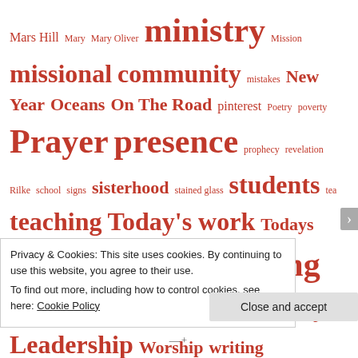Mars Hill Mary Mary Oliver ministry Mission missional community mistakes New Year Oceans On The Road pinterest Poetry poverty Prayer presence prophecy revelation Rilke school signs sisterhood stained glass students tea teaching Today's work Todays work transition Tribe Valentines Waiting Where Why Women in Ministry Leadership Worship writing
WHERE I AM
» Untitled
July 27, 2022
» bonjourfrenchwords: L'instant présent (masculine word)
Privacy & Cookies: This site uses cookies. By continuing to use this website, you agree to their use.
To find out more, including how to control cookies, see here: Cookie Policy
Close and accept